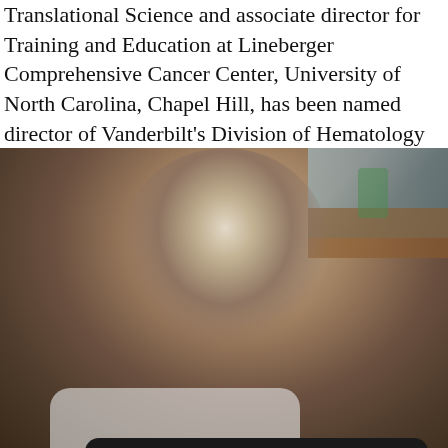Translational Science and associate director for Training and Education at Lineberger Comprehensive Cancer Center, University of North Carolina, Chapel Hill, has been named director of Vanderbilt's Division of Hematology and Oncology. Read More
[Figure (photo): Blurred portrait photo of a woman with dark and gray-highlighted hair, wearing a white coat, with blurred colorful background objects (shelves, green items, blue items)]
We use our own and third-party cookies to personalize content and to analyze web traffic. Learn more
Accept